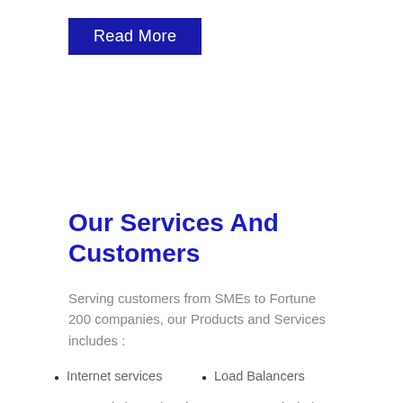Read More
Our Services And Customers
Serving customers from SMEs to Fortune 200 companies, our Products and Services includes :
Internet services
Load Balancers
Domestic leased and MPLS services
Servers and Blade Servers
Voice, ISDN and SIP services
Virtualization
NAS / SAN